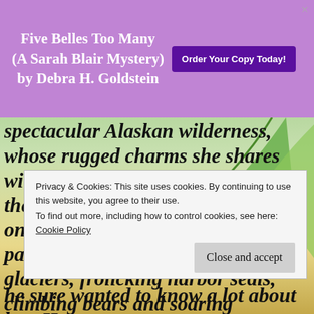Five Belles Too Many (A Sarah Blair Mystery) by Debra H. Goldstein
Order Your Copy Today!
spectacular Alaskan wilderness, whose rugged charms she shares with sightseers on the top deck of the tour boat where she works. But one May afternoon, Stacie's passengers see more than glittering glaciers, frolicking harbor seals, climbing bears and soaring seabirds...they also
Privacy & Cookies: This site uses cookies. By continuing to use this website, you agree to their use. To find out more, including how to control cookies, see here: Cookie Policy
Close and accept
he sure wanted to know a lot about her. He